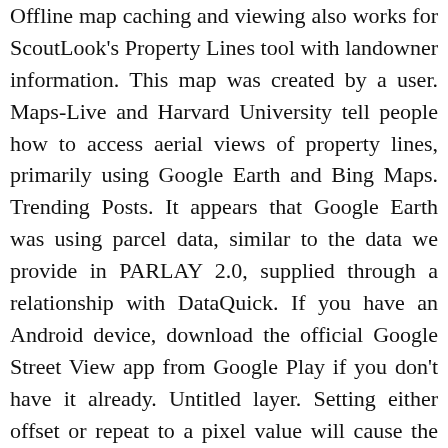Offline map caching and viewing also works for ScoutLook's Property Lines tool with landowner information. This map was created by a user. Maps-Live and Harvard University tell people how to access aerial views of property lines, primarily using Google Earth and Bing Maps. Trending Posts. It appears that Google Earth was using parcel data, similar to the data we provide in PARLAY 2.0, supplied through a relationship with DataQuick. If you have an Android device, download the official Google Street View app from Google Play if you don't have it already. Untitled layer. Setting either offset or repeat to a pixel value will cause the distances to be calculated in pixels on the screen. You do not need to bother with any kind of data file in order to use your map link! This hunting GPS app provides access to property line maps, parcels & public